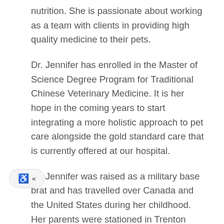nutrition. She is passionate about working as a team with clients in providing high quality medicine to their pets.
Dr. Jennifer has enrolled in the Master of Science Degree Program for Traditional Chinese Veterinary Medicine. It is her hope in the coming years to start integrating a more holistic approach to pet care alongside the gold standard care that is currently offered at our hospital.
Dr. Jennifer was raised as a military base brat and has travelled over Canada and the United States during her childhood. Her parents were stationed in Trenton Ontario for her formative years and she is